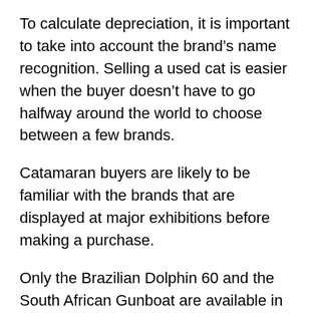To calculate depreciation, it is important to take into account the brand’s name recognition. Selling a used cat is easier when the buyer doesn’t have to go halfway around the world to choose between a few brands.
Catamaran buyers are likely to be familiar with the brands that are displayed at major exhibitions before making a purchase.
Only the Brazilian Dolphin 60 and the South African Gunboat are available in North America as production-built, highly high-performance catamaran brands right now. An